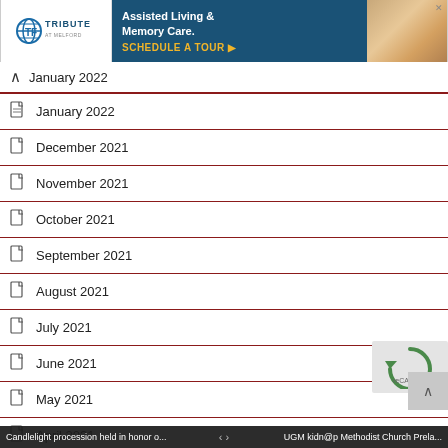[Figure (screenshot): Advertisement banner for Tribute at Melford Assisted Living & Memory Care with schedule a tour CTA]
January 2022
January 2022
December 2021
November 2021
October 2021
September 2021
August 2021
July 2021
June 2021
May 2021
April 2021
March 2021
Candlelight procession held in honor o... | UGM kidn@p Methodist Church Prela...